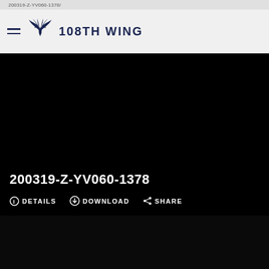200319-Z-YV060-1378 (partial URL bar)
108TH WING
[Figure (photo): Dark/black image panel representing a photo with overlay text showing photo identifier and action buttons]
200319-Z-YV060-1378
DETAILS  DOWNLOAD  SHARE
[Figure (photo): Second dark/black image panel below first photo card]